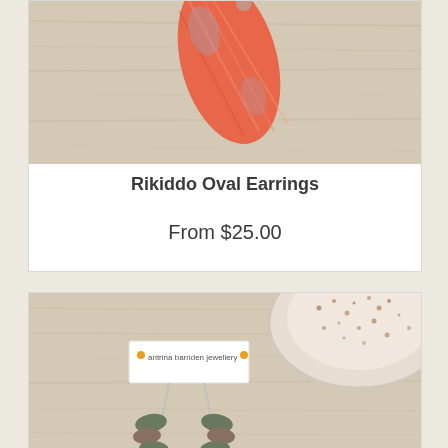[Figure (photo): Close-up photo of colorful orange and pink oval earrings on a light wooden surface]
Rikiddo Oval Earrings
From $25.00
[Figure (photo): Photo of green and pink stone drop earrings on a jewellery card branded 'antonia barnden jewellery', placed on a wooden surface near a ceramic dish]